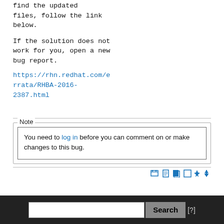find the updated files, follow the link below.
If the solution does not work for you, open a new bug report.
https://rhn.redhat.com/errata/RHBA-2016-2387.html
Note
You need to log in before you can comment on or make changes to this bug.
Search [?]